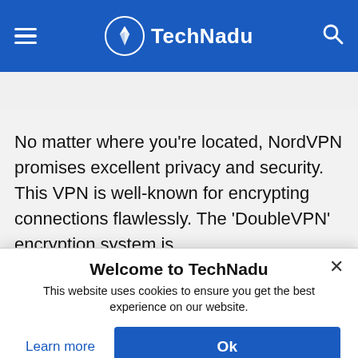TechNadu
NEWS   TV SHOWS   SPORTS   BEST VPN   VPN
No matter where you're located, NordVPN promises excellent privacy and security. This VPN is well-known for encrypting connections flawlessly. The 'DoubleVPN' encryption system is
Welcome to TechNadu
This website uses cookies to ensure you get the best experience on our website.
Learn more
Ok